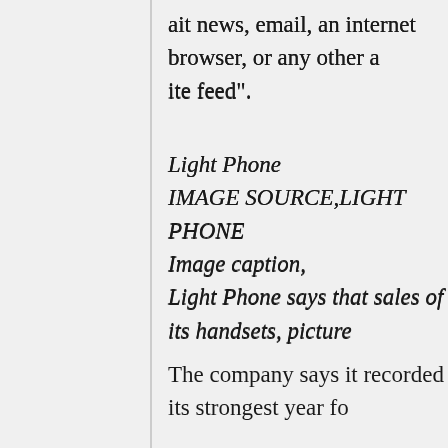ait news, email, an internet browser, or any other a ite feed".
Light Phone
IMAGE SOURCE,LIGHT PHONE
Image caption,
Light Phone says that sales of its handsets, picture
The company says it recorded its strongest year fo ce in 2021, with sales up 150% compared with 202 handsets being expensive for dumbphones - prices
Light Phone co-founder, Kaiwei Tang, says the de ted to use as a secondary phone for people wanting their smartphone for a weekend for example, but m tomers use it as their primary device.